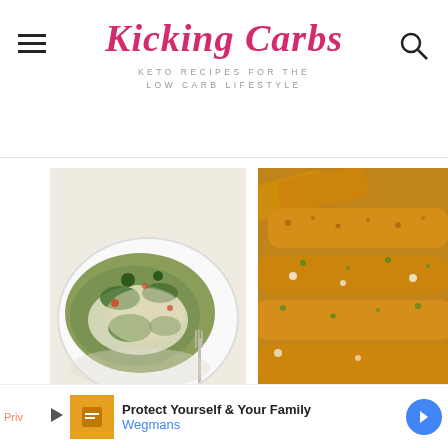Kicking Carbs — KETO RECIPES FOR THE LOW CARB LIFESTYLE
[Figure (photo): Close-up of a spinach and cheese stuffed chicken or flatbread dish on a white plate with a fork]
[Figure (photo): Close-up of breaded chicken tenders or zucchini fries coated with herbs and seasoning]
MORE POSTS FROM THIS CATEGORY
Priv... | Ad: Protect Yourself & Your Family — Wegmans